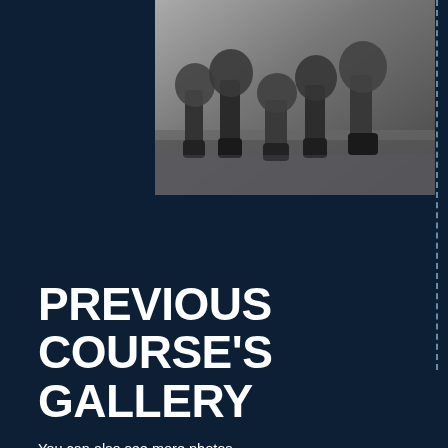[Figure (photo): Black and white photograph of military personnel/soldiers crouching or moving on a wet surface, viewed from the knees down showing boots and combat gear]
PREVIOUS COURSE'S GALLERY
You can also see more photos from our past course's here: